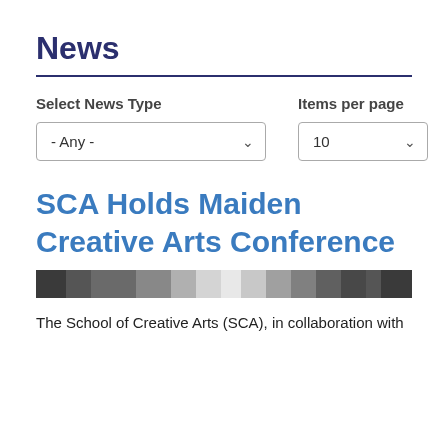News
Select News Type
Items per page
SCA Holds Maiden Creative Arts Conference
[Figure (photo): A dark horizontal strip showing a blurred crowd or event scene related to the creative arts conference.]
The School of Creative Arts (SCA), in collaboration with